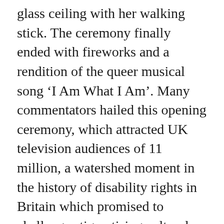glass ceiling with her walking stick. The ceremony finally ended with fireworks and a rendition of the queer musical song ‘I Am What I Am’. Many commentators hailed this opening ceremony, which attracted UK television audiences of 11 million, a watershed moment in the history of disability rights in Britain which promised to challenge stigmatising cultural perceptions and attitudes around disability. Yet earlier in the day hundreds of disability activists took to the streets to stage the first of a series of rather different protest performances to